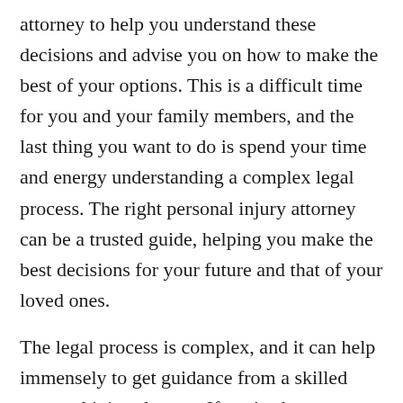attorney to help you understand these decisions and advise you on how to make the best of your options. This is a difficult time for you and your family members, and the last thing you want to do is spend your time and energy understanding a complex legal process. The right personal injury attorney can be a trusted guide, helping you make the best decisions for your future and that of your loved ones.
The legal process is complex, and it can help immensely to get guidance from a skilled personal injury lawyer. If you've been injured, give us a call at (931) 962-1044 or send us an email today. We encourage you to contact us to find out more about our practice areas and legal services